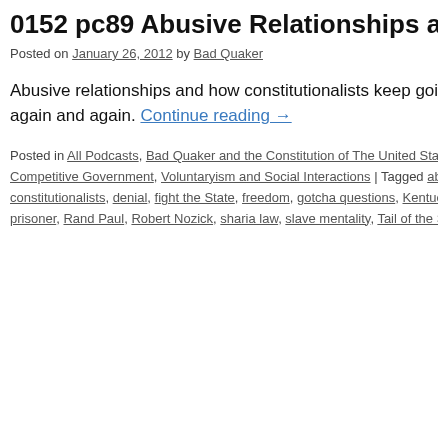0152 pc89 Abusive Relationships and Co…
Posted on January 26, 2012 by Bad Quaker
Abusive relationships and how constitutionalists keep going back again and again. Continue reading →
Posted in All Podcasts, Bad Quaker and the Constitution of The United States, Competitive Government, Voluntaryism and Social Interactions | Tagged constitutionalists, denial, fight the State, freedom, gotcha questions, Kentucky prisoner, Rand Paul, Robert Nozick, sharia law, slave mentality, Tail of the Sl…